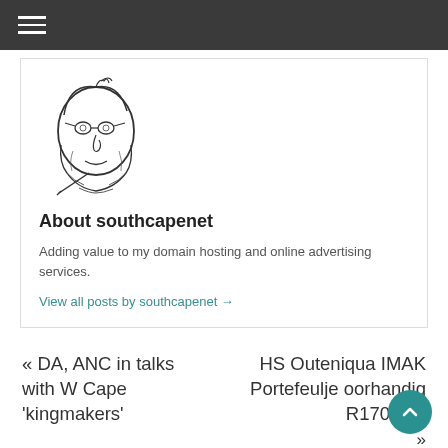[Figure (illustration): Sketched illustration of a bearded man with glasses, pen-and-ink style drawing used as avatar for southcapenet]
About southcapenet
Adding value to my domain hosting and online advertising services.
View all posts by southcapenet →
« DA, ANC in talks with W Cape 'kingmakers'
HS Outeniqua IMAK Portefeulje oorhandig R170 000 »